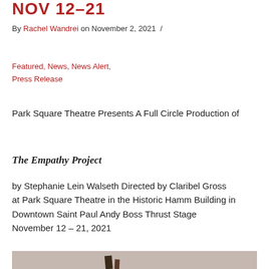NOV 12–21
By Rachel Wandrei on November 2, 2021 /
Featured, News, News Alert, Press Release
Park Square Theatre Presents A Full Circle Production of
The Empathy Project
by Stephanie Lein Walseth Directed by Claribel Gross
at Park Square Theatre in the Historic Hamm Building in Downtown Saint Paul Andy Boss Thrust Stage
November 12 – 21, 2021
[Figure (photo): Partial view of a photo, bottom portion visible, appears to show people or a performer on stage, cropped at page edge.]